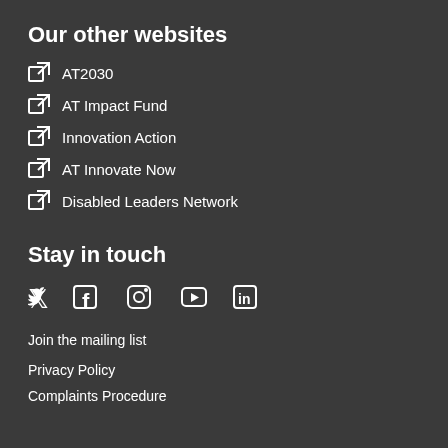Our other websites
AT2030
AT Impact Fund
Innovation Action
AT Innovate Now
Disabled Leaders Network
Stay in touch
[Figure (infographic): Social media icons: Twitter, Facebook, Instagram, YouTube, LinkedIn]
Join the mailing list
Privacy Policy
Complaints Procedure